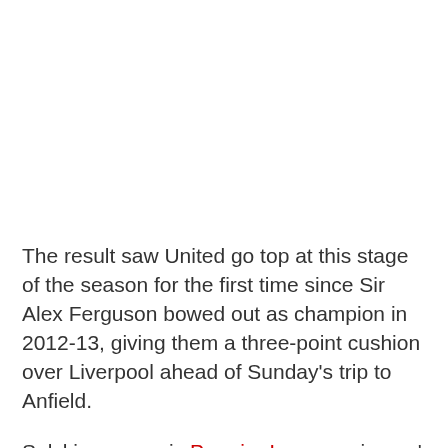The result saw United go top at this stage of the season for the first time since Sir Alex Ferguson bowed out as champion in 2012-13, giving them a three-point cushion over Liverpool ahead of Sunday's trip to Anfield.
Solskjaer won six Premier League winners' medals during his time as a player at Old